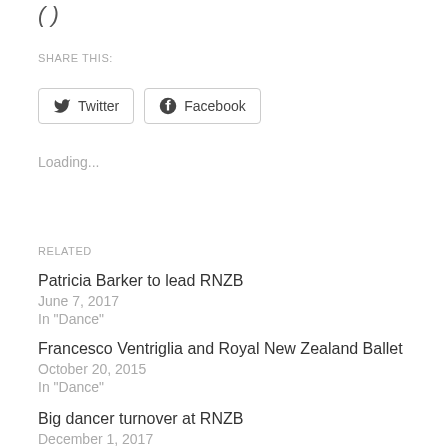SHARE THIS:
Twitter   Facebook
Loading...
RELATED
Patricia Barker to lead RNZB
June 7, 2017
In "Dance"
Francesco Ventriglia and Royal New Zealand Ballet
October 20, 2015
In "Dance"
Big dancer turnover at RNZB
December 1, 2017